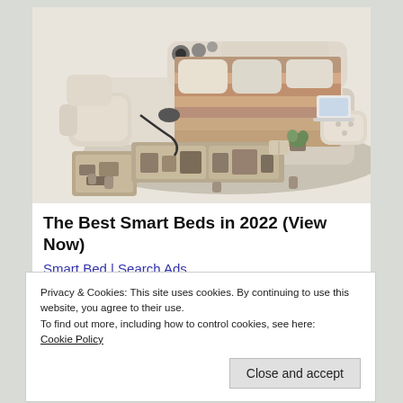[Figure (photo): A luxury smart bed with beige/cream upholstery shown from an elevated angle. The bed features integrated storage drawers, speakers, massage elements, a reclining side chair, and a laptop/tablet stand. The bed appears to have multiple compartments and features including open storage drawers revealing contents.]
The Best Smart Beds in 2022 (View Now)
Smart Bed | Search Ads
Privacy & Cookies: This site uses cookies. By continuing to use this website, you agree to their use.
To find out more, including how to control cookies, see here:
Cookie Policy
Close and accept